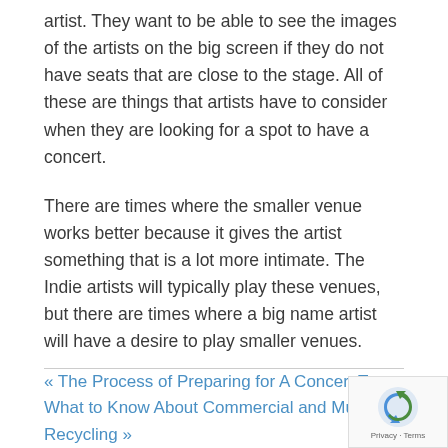artist. They want to be able to see the images of the artists on the big screen if they do not have seats that are close to the stage. All of these are things that artists have to consider when they are looking for a spot to have a concert.
There are times where the smaller venue works better because it gives the artist something that is a lot more intimate. The Indie artists will typically play these venues, but there are times where a big name artist will have a desire to play smaller venues.
« The Process of Preparing for A Concert Tour
What to Know About Commercial and Municipal Recycling »